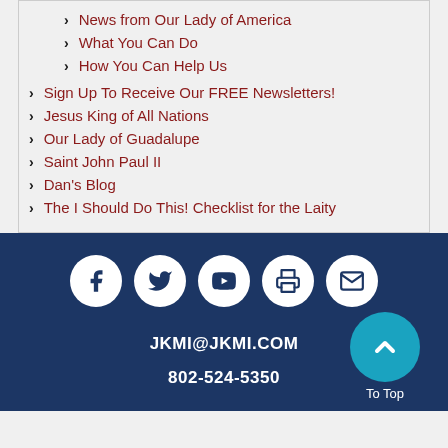News from Our Lady of America
What You Can Do
How You Can Help Us
Sign Up To Receive Our FREE Newsletters!
Jesus King of All Nations
Our Lady of Guadalupe
Saint John Paul II
Dan's Blog
The I Should Do This! Checklist for the Laity
JKMI@JKMI.COM 802-524-5350